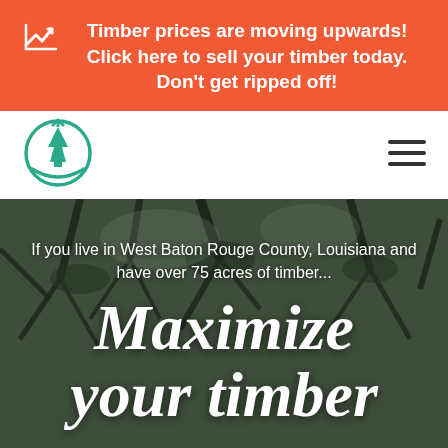Timber prices are moving upwards! Click here to sell your timber today. Don't get ripped off!
[Figure (logo): Green circular logo with upward arrow and tree symbol]
[Figure (illustration): Hamburger menu icon (three horizontal lines)]
[Figure (photo): Looking up through pine tree canopy, dark branches against sky]
If you live in West Baton Rouge County, Louisiana and have over 75 acres of timber...
Maximize your timber